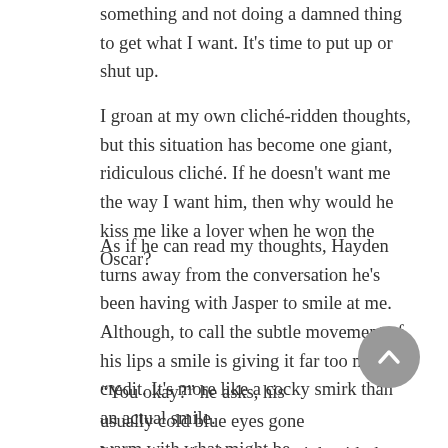something and not doing a damned thing to get what I want. It's time to put up or shut up.
I groan at my own cliché-ridden thoughts, but this situation has become one giant, ridiculous cliché. If he doesn't want me the way I want him, then why would he kiss me like a lover when he won the Oscar?
As if he can read my thoughts, Hayden turns away from the conversation he's been having with Jasper to smile at me. Although, to call the subtle movement of his lips a smile is giving it far too much credit. It's more like a cocky smirk than an actual smile.
“You okay?” he asks, his usually cold blue eyes gone warm with what might be affection.
I have to resist the urge to sigh with the pleasure of